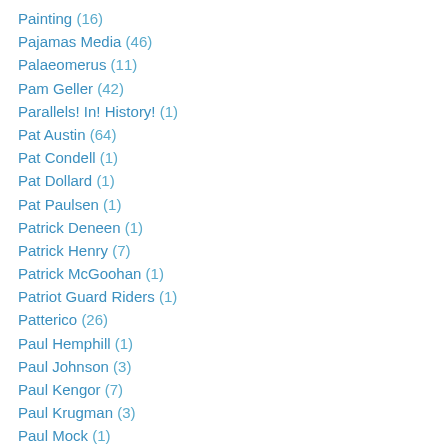Painting (16)
Pajamas Media (46)
Palaeomerus (11)
Pam Geller (42)
Parallels! In! History! (1)
Pat Austin (64)
Pat Condell (1)
Pat Dollard (1)
Pat Paulsen (1)
Patrick Deneen (1)
Patrick Henry (7)
Patrick McGoohan (1)
Patriot Guard Riders (1)
Patterico (26)
Paul Hemphill (1)
Paul Johnson (3)
Paul Kengor (7)
Paul Krugman (3)
Paul Mock (1)
Paul Ryan (43)